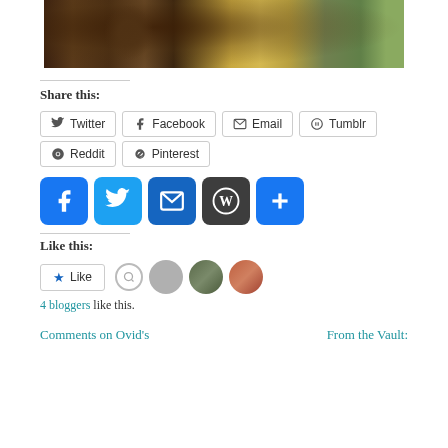[Figure (illustration): Partial view of a classical painting showing a figure in a landscape with muted earth tones and yellowish sky]
Share this:
Twitter
Facebook
Email
Tumblr
Reddit
Pinterest
[Figure (infographic): Row of social media icon buttons: Facebook (blue f), Twitter (blue bird), Email (blue envelope), WordPress (dark circle W), Share (blue plus)]
Like this:
Like
4 bloggers like this.
Comments on Ovid's
From the Vault: